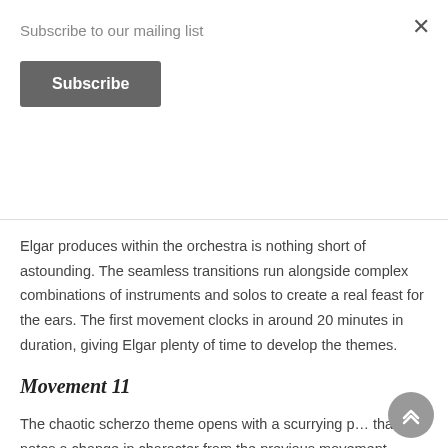Subscribe to our mailing list
Subscribe
Elgar produces within the orchestra is nothing short of astounding. The seamless transitions run alongside complex combinations of instruments and solos to create a real feast for the ears. The first movement clocks in around 20 minutes in duration, giving Elgar plenty of time to develop the themes.
Movement 11
The chaotic scherzo theme opens with a scurrying p… that notes a change in character from the previous movement. Muted brass pierce through the fast and